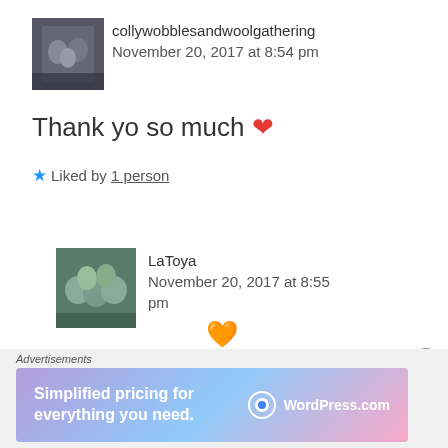[Figure (photo): Avatar photo of collywobblesandwoolgathering showing group of people]
collywobblesandwoolgathering
November 20, 2017 at 8:54 pm
Thank yo so much ❤
★ Liked by 1 person
[Figure (photo): Avatar photo of LaToya showing group of people]
LaToya
November 20, 2017 at 8:55 pm
Advertisements
[Figure (other): WordPress.com advertisement banner: Simplified pricing for everything you need.]